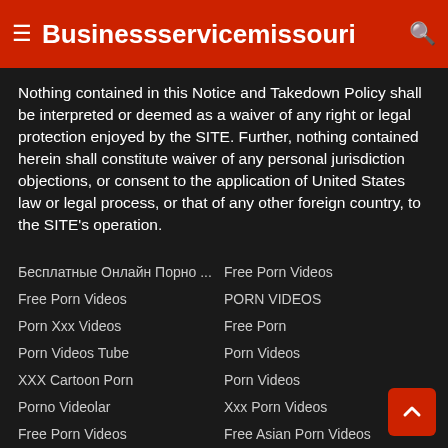Businessservicemissouri
Nothing contained in this Notice and Takedown Policy shall be interpreted or deemed as a waiver of any right or legal protection enjoyed by the SITE. Further, nothing contained herein shall constitute waiver of any personal jurisdiction objections, or consent to the application of United States law or legal process, or that of any other foreign country, to the SITE's operation.
Бесплатные Онлайн Порно ...
Free Porn Videos
Porn Xxx Videos
Porn Videos Tube
XXX Cartoon Porn
Porno Videolar
Free Porn Videos
All Porno Movies
Porn Videos
Free Amateur Girlfriend Porn ...
Free Porn Videos
PORN VIDEOS
Free Porn
Porn Videos
Porn Videos
Xxx Porn Videos
Free Asian Porn Videos
Hentai
Xxx Porn Videos
Porn Videos